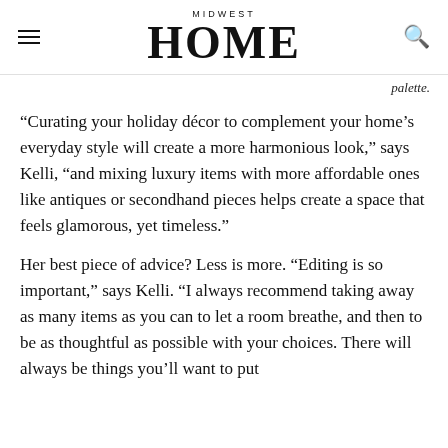MIDWEST HOME
palette.
“Curating your holiday décor to complement your home’s everyday style will create a more harmonious look,” says Kelli, “and mixing luxury items with more affordable ones like antiques or secondhand pieces helps create a space that feels glamorous, yet timeless.”
Her best piece of advice? Less is more. “Editing is so important,” says Kelli. “I always recommend taking away as many items as you can to let a room breathe, and then to be as thoughtful as possible with your choices. There will always be things you’ll want to put